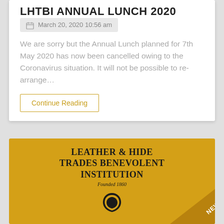LHTBI ANNUAL LUNCH 2020
March 20, 2020 10:56 am
We are sorry but the Annual Lunch planned for 7th May 2020 has now been cancelled owing to the Coronavirus situation. It will not be possible to re-arrange...
Continue Reading
[Figure (logo): Leather & Hide Trades Benevolent Institution logo on golden/amber background with leather hide icon and NEWS badge in corner]